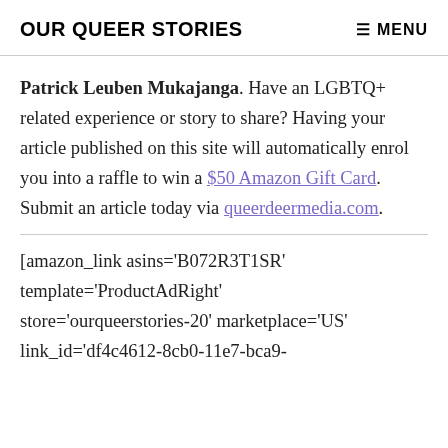OUR QUEER STORIES   ☰ MENU
Patrick Leuben Mukajanga. Have an LGBTQ+ related experience or story to share? Having your article published on this site will automatically enrol you into a raffle to win a $50 Amazon Gift Card. Submit an article today via queerdeermedia.com.
[amazon_link asins='B072R3T1SR' template='ProductAdRight' store='ourqueerstories-20' marketplace='US' link_id='df4c4612-8cb0-11e7-bca9-